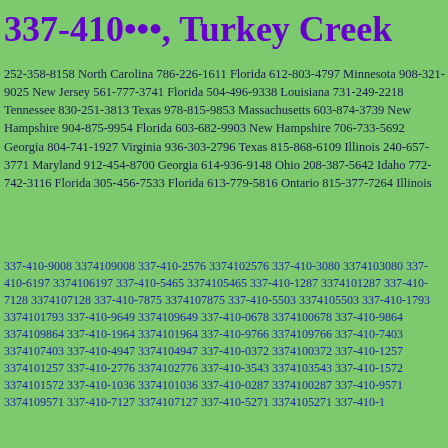337-410•••, Turkey Creek
252-358-8158 North Carolina 786-226-1611 Florida 612-803-4797 Minnesota 908-321-9025 New Jersey 561-777-3741 Florida 504-496-9338 Louisiana 731-249-2218 Tennessee 830-251-3813 Texas 978-815-9853 Massachusetts 603-874-3739 New Hampshire 904-875-9954 Florida 603-682-9903 New Hampshire 706-733-5692 Georgia 804-741-1927 Virginia 936-303-2796 Texas 815-868-6109 Illinois 240-657-3771 Maryland 912-454-8700 Georgia 614-936-9148 Ohio 208-387-5642 Idaho 772-742-3116 Florida 305-456-7533 Florida 613-779-5816 Ontario 815-377-7264 Illinois
337-410-9008 3374109008 337-410-2576 3374102576 337-410-3080 3374103080 337-410-6197 3374106197 337-410-5465 3374105465 337-410-1287 3374101287 337-410-7128 3374107128 337-410-7875 3374107875 337-410-5503 3374105503 337-410-1793 3374101793 337-410-9649 3374109649 337-410-0678 3374100678 337-410-9864 3374109864 337-410-1964 3374101964 337-410-9766 3374109766 337-410-7403 3374107403 337-410-4947 3374104947 337-410-0372 3374100372 337-410-1257 3374101257 337-410-2776 3374102776 337-410-3543 3374103543 337-410-1572 3374101572 337-410-1036 3374101036 337-410-0287 3374100287 337-410-9571 3374109571 337-410-7127 3374107127 337-410-5271 3374105271 337-410-1...